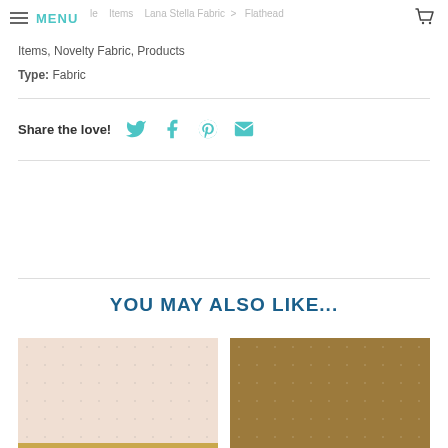MENU
Items, Novelty Fabric, Products
Type: Fabric
Share the love!
YOU MAY ALSO LIKE...
[Figure (photo): Light pink fabric swatch with subtle dot pattern]
[Figure (photo): Tan/brown fabric swatch with subtle dot pattern]